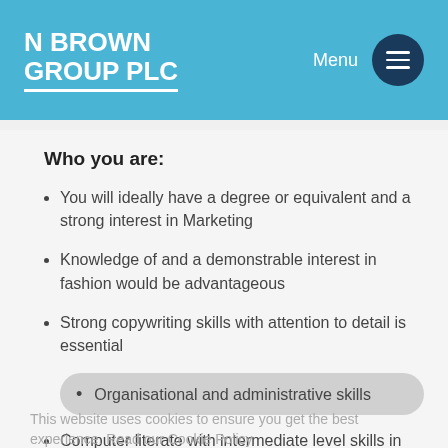N BROWN GROUP PLC
Who you are:
You will ideally have a degree or equivalent and a strong interest in Marketing
Knowledge of and a demonstrable interest in fashion would be advantageous
Strong copywriting skills with attention to detail is essential
Organisational and administrative skills
Computer literate with intermediate level skills in Excel, PowerPoint, Word and Email